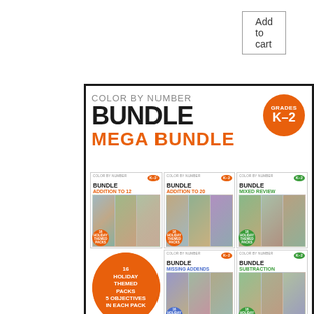Add to cart
[Figure (illustration): Color By Number Bundle Mega Bundle product image for Grades K-2, showing 5 sub-bundles: Addition to 12, Addition to 20, Mixed Review, Missing Addends, Subtraction. Orange circle states: 16 Holiday Themed Packs, 5 Objectives In Each Pack.]